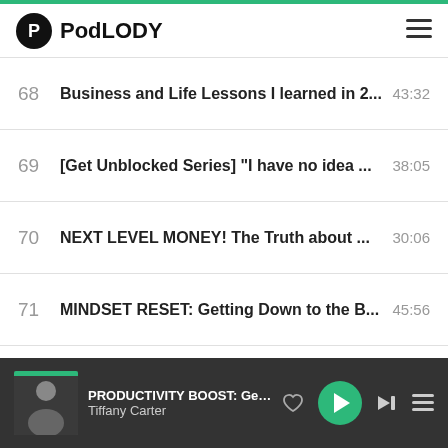PodLODY
68  Business and Life Lessons I learned in 2...  43:32
69  [Get Unblocked Series] "I have no idea ...  38:05
70  NEXT LEVEL MONEY! The Truth about ...  30:06
71  MINDSET RESET: Getting Down to the B...  45:56
72  My Content Marketing Strategy that is R...  33:52
73  A Behind the Scenes Look of my Highes...  31:44
74  [Get Unblocked Series] Managing your A...  28:55
75  Pla... (partial, cut off)
PRODUCTIVITY BOOST: Get Your M...  Tiffany Carter